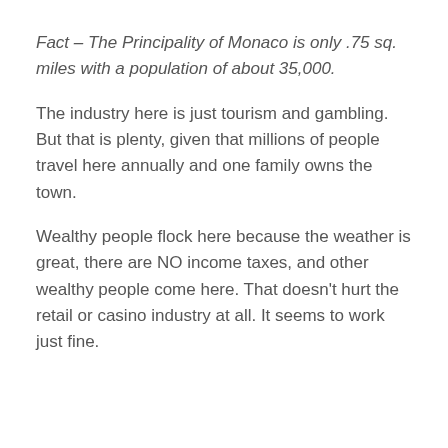Fact – The Principality of Monaco is only .75 sq. miles with a population of about 35,000.
The industry here is just tourism and gambling. But that is plenty, given that millions of people travel here annually and one family owns the town.
Wealthy people flock here because the weather is great, there are NO income taxes, and other wealthy people come here. That doesn't hurt the retail or casino industry at all. It seems to work just fine.